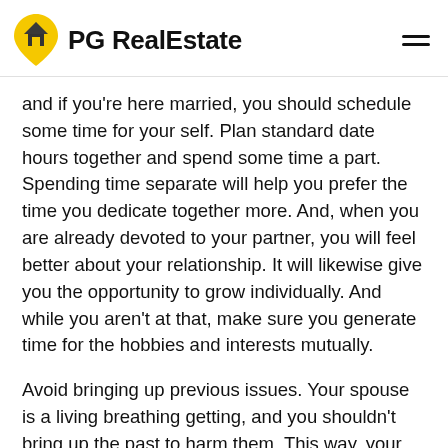PG RealEstate
and if you're here married, you should schedule some time for your self. Plan standard date hours together and spend some time a part. Spending time separate will help you prefer the time you dedicate together more. And, when you are already devoted to your partner, you will feel better about your relationship. It will likewise give you the opportunity to grow individually. And while you aren't at that, make sure you generate time for the hobbies and interests mutually.
Avoid bringing up previous issues. Your spouse is a living breathing getting, and you shouldn't bring up the past to harm them. This way, your partner will feel special and loved. Your spouse will ensure that you set time into nurturing the relationship. In